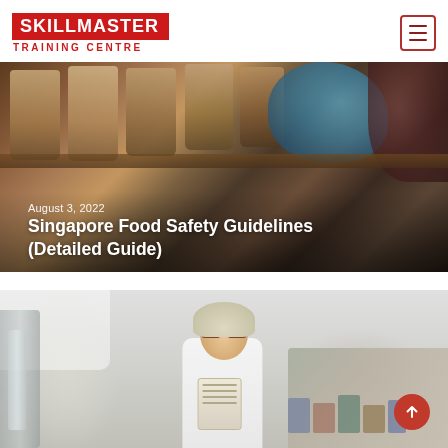SKILLMASTER TRAINING CENTRE
[Figure (photo): Close-up of food containers/spice jars on a shelf with a gloved hand, dark moody tones. Date: August 3, 2022. Title overlay: Singapore Food Safety Guidelines (Detailed Guide)]
Singapore Food Safety Guidelines (Detailed Guide)
[Figure (photo): Food factory worker wearing white coat, hairnet, and glasses, reading a clipboard or document in an industrial food production facility]